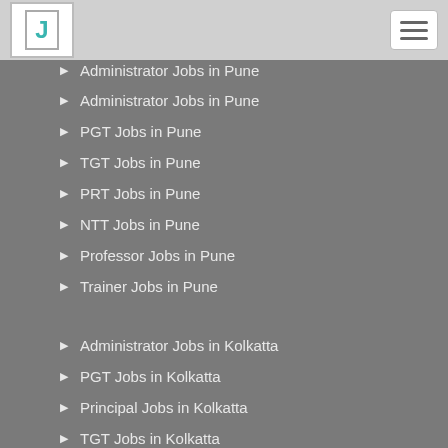Jobs portal navigation header with logo and hamburger menu
Administrator Jobs in Pune
PGT Jobs in Pune
TGT Jobs in Pune
PRT Jobs in Pune
NTT Jobs in Pune
Professor Jobs in Pune
Trainer Jobs in Pune
Administrator Jobs in Kolkatta
PGT Jobs in Kolkatta
Principal Jobs in Kolkatta
TGT Jobs in Kolkatta
PRT Jobs in Kolkatta
NTT Jobs in Kolkatta
Professor Jobs in Kolkatta
Trainer Jobs in Kolkatta